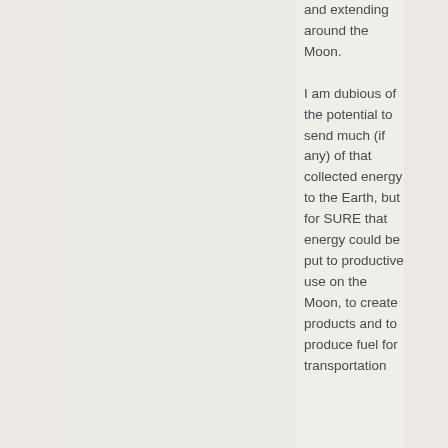and extending around the Moon.

I am dubious of the potential to send much (if any) of that collected energy to the Earth, but for SURE that energy could be put to productive use on the Moon, to create products and to produce fuel for transportation